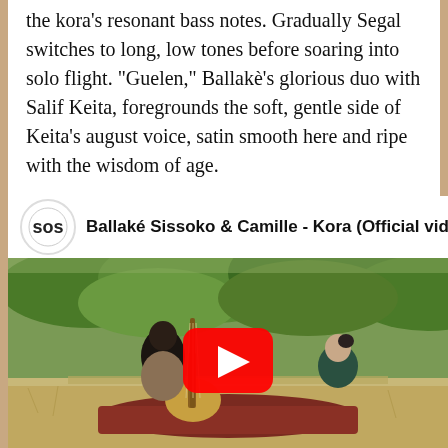the kora's resonant bass notes. Gradually Segal switches to long, low tones before soaring into solo flight. "Guelen," Ballakè's glorious duo with Salif Keita, foregrounds the soft, gentle side of Keita's august voice, satin smooth here and ripe with the wisdom of age.
[Figure (screenshot): YouTube video embed showing Ballaké Sissoko & Camille - Kora (Official video). The thumbnail shows two people sitting on a blanket outdoors, one playing a kora instrument. A large red YouTube play button is centered on the image.]